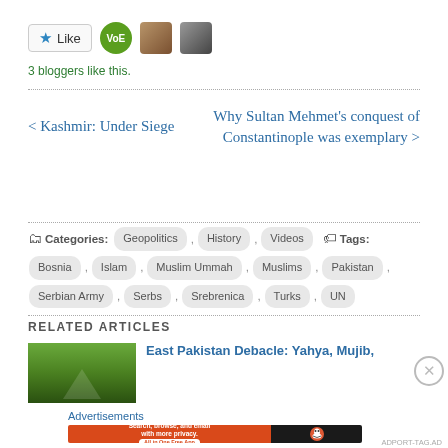[Figure (other): Like button with star icon and three blogger avatars (VoE logo, person with sunglasses, cat/animal photo)]
3 bloggers like this.
< Kashmir: Under Siege
Why Sultan Mehmet's conquest of Constantinople was exemplary >
Categories: Geopolitics , History , Videos , Tags: Bosnia , Islam , Muslim Ummah , Muslims , Pakistan , Serbian Army , Serbs , Srebrenica , Turks , UN
RELATED ARTICLES
East Pakistan Debacle: Yahya, Mujib,
Advertisements
[Figure (infographic): DuckDuckGo advertisement banner: 'Search, browse, and email with more privacy. All in One Free App' with DuckDuckGo duck logo on dark background]